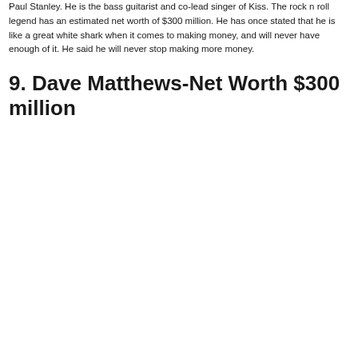Paul Stanley. He is the bass guitarist and co-lead singer of Kiss. The rock n roll legend has an estimated net worth of $300 million. He has once stated that he is like a great white shark when it comes to making money, and will never have enough of it. He said he will never stop making more money.
9. Dave Matthews-Net Worth $300 million